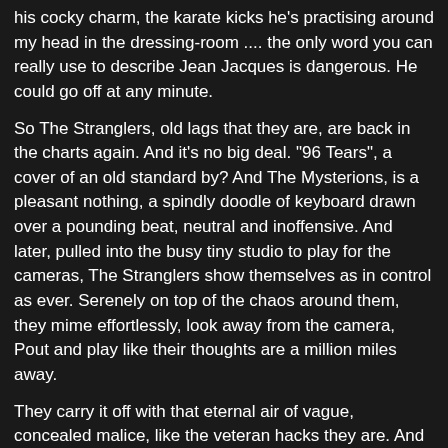his cocky charm, the karate kicks he's practising around my head in the dressing-room .... the only word you can really use to describe Jean Jacques is dangerous. He could go off at any minute.
So The Stranglers, old lags that they are, are back in the charts again. And it's no big deal. "96 Tears", a cover of an old standard by? And The Mysterions, is a pleasant nothing, a spindly doodle of keyboard drawn over a pounding beat, neutral and inoffensive. And later, pulled into the busy tiny studio to play for the cameras, The Stranglers show themselves as in control as ever. Serenely on top of the chaos around them, they mime effortlessly, look away from the camera, Pout and play like their thoughts are a million miles away.
They carry it off with that eternal air of vague, concealed malice, like the veteran hacks they are. And looking at them, I realise this could be absolutely any year, from 1975 right through to 1990. The Stranglers just never want to go away.
Hugh Cornwell used to be a teacher, back in the distant